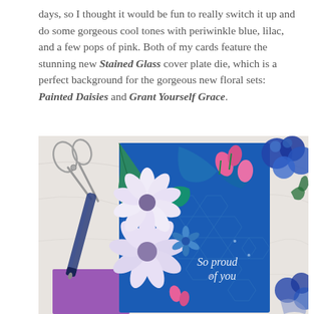days, so I thought it would be fun to really switch it up and do some gorgeous cool tones with periwinkle blue, lilac, and a few pops of pink. Both of my cards feature the stunning new Stained Glass cover plate die, which is a perfect background for the gorgeous new floral sets: Painted Daisies and Grant Yourself Grace.
[Figure (photo): Overhead photo of a handmade greeting card with stained glass hexagon background in royal blue, decorated with painted white and lilac daisies and pink floral accents, text reading 'So proud of you', surrounded by scissors, a fountain pen, and blue hydrangea flowers on a marble surface.]